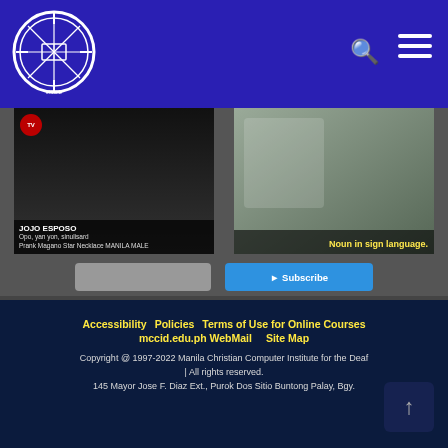[Figure (logo): Manila Christian Computer Institute for the Deaf circular logo in white on blue background]
[Figure (screenshot): Two video thumbnails side by side: left shows 'JOJO ESPOSO' title card in Filipino sign language; right shows 'Noun in sign language.' in yellow text]
[Figure (screenshot): Two partially visible buttons: a gray 'Load More' button and a blue 'Subscribe' button]
Accessibility   Policies   Terms of Use for Online Courses   mccid.edu.ph WebMail   Site Map

Copyright @ 1997-2022 Manila Christian Computer Institute for the Deaf | All rights reserved.
145 Mayor Jose F. Diaz Ext., Purok Dos Sitio Buntong Palay, Bgy.